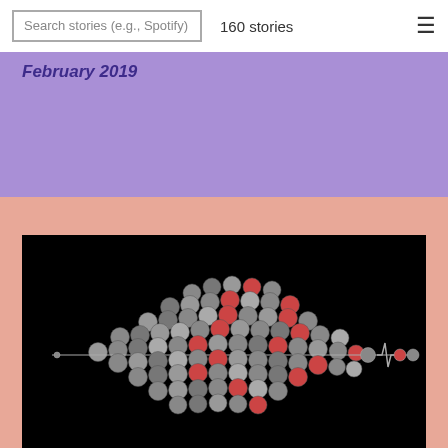Search stories (e.g., Spotify)    160 stories
February 2019
[Figure (infographic): A data visualization on a black background showing a fish or arrow shape made up of many circular portrait photos (mostly black and white, some in red/orange), connected by a line with a heartbeat/ECG-style spike near the right tail. The arrangement of circles forms a dense cluster tapering to the right like a comet or fish shape.]